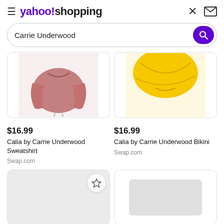yahoo!shopping
Carrie Underwood
[Figure (photo): Pink/mauve Calia by Carrie Underwood sweatshirt product photo, cropped at top]
[Figure (photo): Yellow Calia by Carrie Underwood bikini product photo, cropped at top]
$16.99
Calia by Carrie Underwood Sweatshirt
Swap.com
$16.99
Calia by Carrie Underwood Bikini
Swap.com
[Figure (photo): Loading product card with star/bookmark icon, gray background]
[Figure (photo): Loading product card with gray inner rectangle, white background]